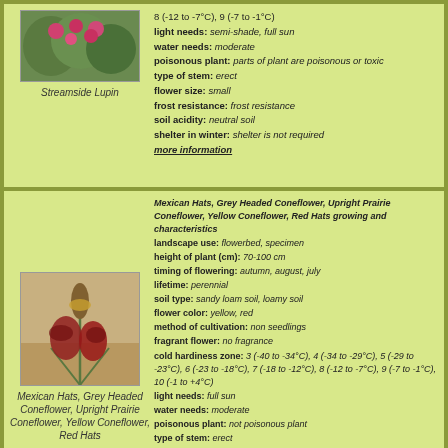[Figure (photo): Photo of Streamside Lupin plant with pink/red flowers]
Streamside Lupin
8 (-12 to -7°C), 9 (-7 to -1°C)
light needs: semi-shade, full sun
water needs: moderate
poisonous plant: parts of plant are poisonous or toxic
type of stem: erect
flower size: small
frost resistance: frost resistance
soil acidity: neutral soil
shelter in winter: shelter is not required
more information
[Figure (photo): Photo of Mexican Hats / Grey Headed Coneflower plant with red drooping petals]
Mexican Hats, Grey Headed Coneflower, Upright Prairie Coneflower, Yellow Coneflower, Red Hats
Mexican Hats, Grey Headed Coneflower, Upright Prairie Coneflower, Yellow Coneflower, Red Hats growing and characteristics
landscape use: flowerbed, specimen
height of plant (cm): 70-100 cm
timing of flowering: autumn, august, july
lifetime: perennial
soil type: sandy loam soil, loamy soil
flower color: yellow, red
method of cultivation: non seedlings
fragrant flower: no fragrance
cold hardiness zone: 3 (-40 to -34°C), 4 (-34 to -29°C), 5 (-29 to -23°C), 6 (-23 to -18°C), 7 (-18 to -12°C), 8 (-12 to -7°C), 9 (-7 to -1°C), 10 (-1 to +4°C)
light needs: full sun
water needs: moderate
poisonous plant: not poisonous plant
type of stem: erect